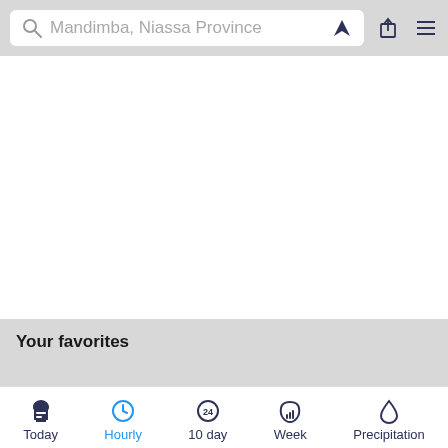Mandimba, Niassa Province
[Figure (screenshot): White blank content area representing a weather map or loading area]
Your favorites
Today  Hourly  10 day  Week  Precipitation